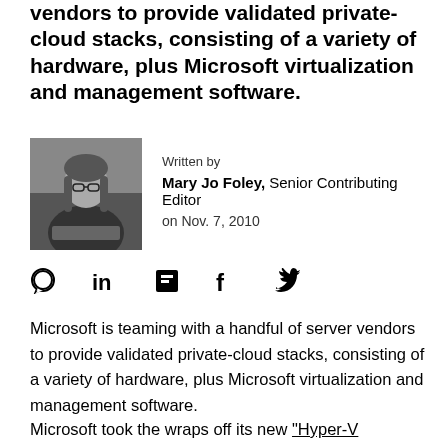vendors to provide validated private-cloud stacks, consisting of a variety of hardware, plus Microsoft virtualization and management software.
[Figure (photo): Black and white photo of Mary Jo Foley, a woman with glasses and long hair, sitting with a laptop]
Written by
Mary Jo Foley, Senior Contributing Editor
on Nov. 7, 2010
[Figure (infographic): Social media sharing icons: comment bubble, LinkedIn, Flipboard, Facebook, Twitter]
Microsoft is teaming with a handful of server vendors to provide validated private-cloud stacks, consisting of a variety of hardware, plus Microsoft virtualization and management software.
Microsoft took the wraps off its new "Hyper-V